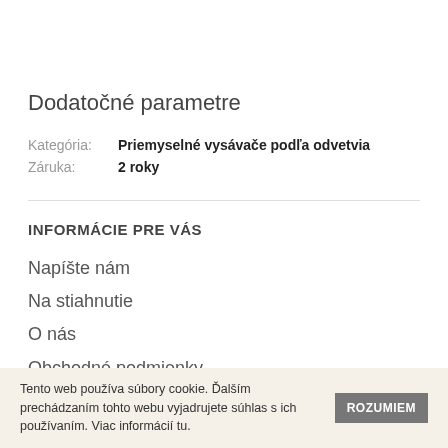Dodatočné parametre
| Kategória: | Priemyselné vysávače podľa odvetvia |
| Záruka: | 2 roky |
INFORMÁCIE PRE VÁS
Napíšte nám
Na stiahnutie
O nás
Obchodné podmienky
Tento web používa súbory cookie. Ďalším prechádzaním tohto webu vyjadrujete súhlas s ich používaním. Viac informácií tu. ROZUMIEM